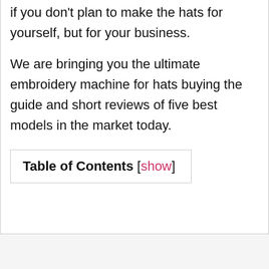if you don't plan to make the hats for yourself, but for your business.
We are bringing you the ultimate embroidery machine for hats buying the guide and short reviews of five best models in the market today.
| Table of Contents [show] |